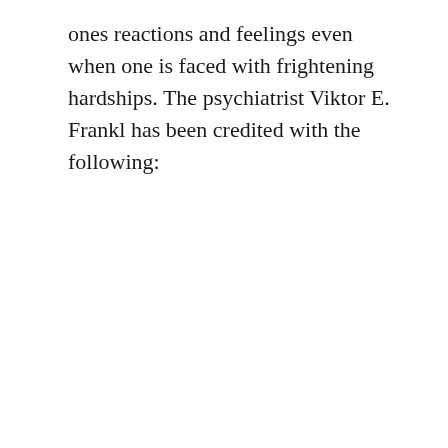ones reactions and feelings even when one is faced with frightening hardships. The psychiatrist Viktor E. Frankl has been credited with the following: